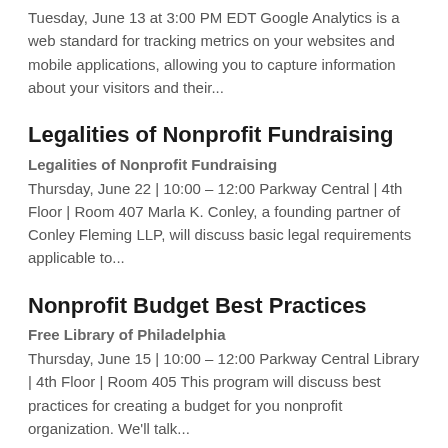Tuesday, June 13 at 3:00 PM EDT Google Analytics is a web standard for tracking metrics on your websites and mobile applications, allowing you to capture information about your visitors and their...
Legalities of Nonprofit Fundraising
Legalities of Nonprofit Fundraising
Thursday, June 22 | 10:00 – 12:00 Parkway Central | 4th Floor | Room 407 Marla K. Conley, a founding partner of Conley Fleming LLP, will discuss basic legal requirements applicable to...
Nonprofit Budget Best Practices
Free Library of Philadelphia
Thursday, June 15 | 10:00 – 12:00 Parkway Central Library | 4th Floor | Room 405 This program will discuss best practices for creating a budget for you nonprofit organization. We'll talk...
Defining Your Audience: an Art & a Science